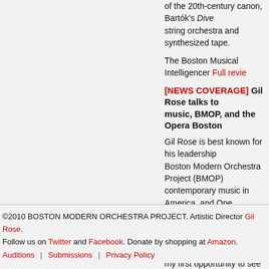of the 20th-century canon, Bartók's Dive string orchestra and synthesized tape.
The Boston Musical Intelligencer Full review
[NEWS COVERAGE] Gil Rose talks to music, BMOP, and the Opera Boston
Gil Rose is best known for his leadership Boston Modern Orchestra Project (BMOP) contemporary music in America, and Ope outstanding performances of operatic ma the mainstream houses. I know I'll be ete my first opportunity to see Weber's Der F work in the history of opera and a great c
The Berkshire Review Full review
©2010 BOSTON MODERN ORCHESTRA PROJECT. Artistic Director Gil Rose. Follow us on Twitter and Facebook. Donate by shopping at Amazon. Auditions | Submissions | Privacy Policy